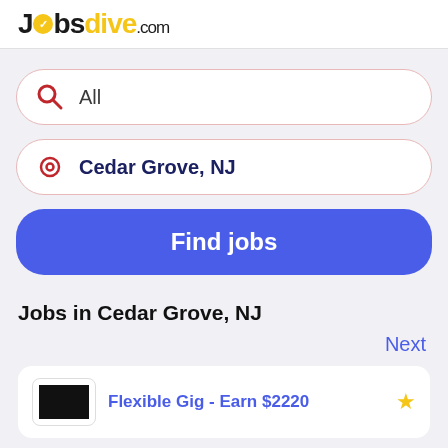Jobsdive.com
All
Cedar Grove, NJ
Find jobs
Jobs in Cedar Grove, NJ
Next
Flexible Gig - Earn $2220